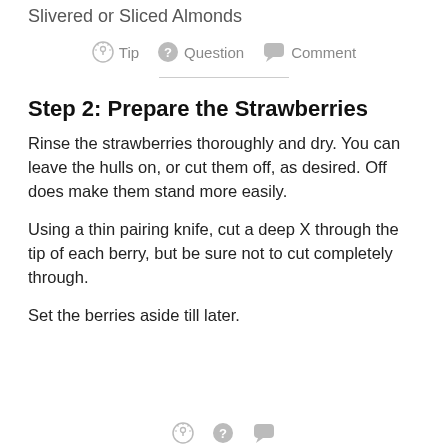Slivered or Sliced Almonds
Tip  Question  Comment
Step 2: Prepare the Strawberries
Rinse the strawberries thoroughly and dry.  You can leave the hulls on, or cut them off, as desired.  Off does make them stand more easily.
Using a thin pairing knife, cut a deep X through the tip of each berry, but be sure not to cut completely through.
Set the berries aside till later.